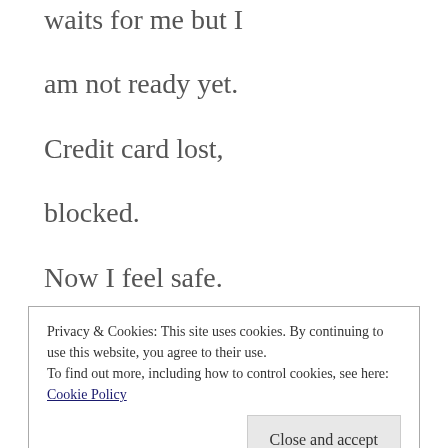waits for me but I
am not ready yet.
Credit card lost,
blocked.
Now I feel safe.
Privacy & Cookies: This site uses cookies. By continuing to use this website, you agree to their use.
To find out more, including how to control cookies, see here: Cookie Policy
Close and accept
“I am ready”, I tell him.